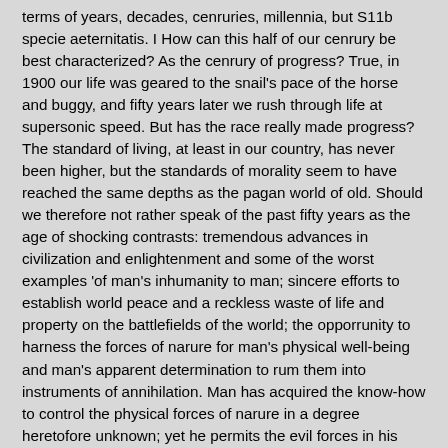terms of years, decades, cenruries, millennia, but S11b specie aeternitatis. I How can this half of our cenrury be best characterized? As the cenrury of progress? True, in 1900 our life was geared to the snail's pace of the horse and buggy, and fifty years later we rush through life at supersonic speed. But has the race really made progress? The standard of living, at least in our country, has never been higher, but the standards of morality seem to have reached the same depths as the pagan world of old. Should we therefore not rather speak of the past fifty years as the age of shocking contrasts: tremendous advances in civilization and enlightenment and some of the worst examples 'of man's inhumanity to man; sincere efforts to establish world peace and a reckless waste of life and property on the battlefields of the world; the opporrunity to harness the forces of narure for man's physical well-being and man's apparent determination to rum them into instruments of annihilation. Man has acquired the know-how to control the physical forces of narure in a degree heretofore unknown; yet he permits the evil forces in his own bosom to destroy him physically, morally, spiritually. Never before have Christian missions been conducted on so global a scale; at no other time have persecutions taken such a